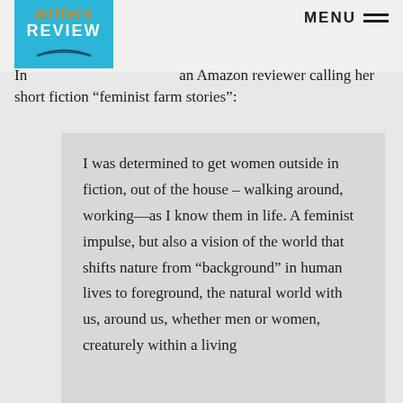Writers Review — MENU
In an Amazon reviewer calling her short fiction “feminist farm stories”:
I was determined to get women outside in fiction, out of the house – walking around, working—as I know them in life. A feminist impulse, but also a vision of the world that shifts nature from “background” in human lives to foreground, the natural world with us, around us, whether men or women, creaturely within a living…